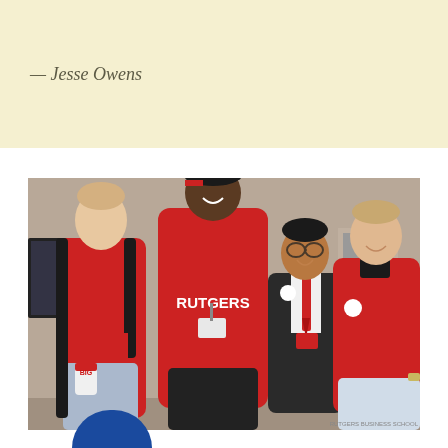— Jesse Owens
[Figure (photo): Four people posing together indoors. One person in the center is tall and wearing a red Rutgers sweatshirt and a baseball cap with a lanyard/badge. The others are wearing red jackets or shirts. One holds a cup.]